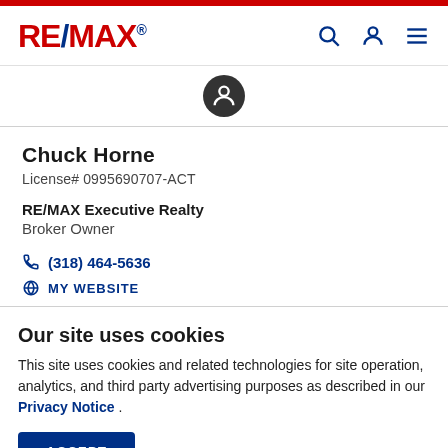RE/MAX
Chuck Horne
License# 0995690707-ACT
RE/MAX Executive Realty
Broker Owner
(318) 464-5636
MY WEBSITE
Our site uses cookies
This site uses cookies and related technologies for site operation, analytics, and third party advertising purposes as described in our Privacy Notice .
ACCEPT